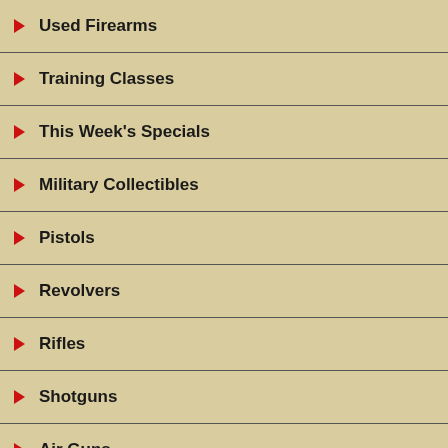Used Firearms
Training Classes
This Week's Specials
Military Collectibles
Pistols
Revolvers
Rifles
Shotguns
Air Guns
Collectible Guns
Custom Guns
LE/First Responder/Military Guns